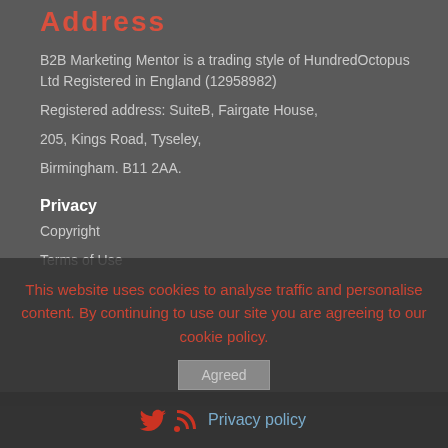Address
B2B Marketing Mentor is a trading style of HundredOctopus Ltd Registered in England (12958982)
Registered address: SuiteB, Fairgate House,
205, Kings Road, Tyseley,
Birmingham. B11 2AA.
Privacy
Copyright
Terms of Use
This website uses cookies to analyse traffic and personalise content. By continuing to use our site you are agreeing to our cookie policy.
Agreed
Privacy policy